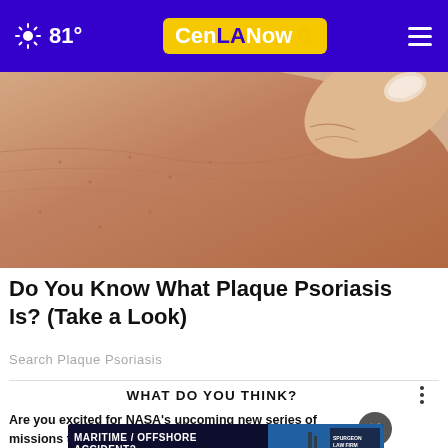81° CenLANow
[Figure (photo): Close-up photo of skin being scratched or touched by a fingernail, showing skin detail]
Do You Know What Plaque Psoriasis Is? (Take a Look)
Search Plaque Psoriasis
WHAT DO YOU THINK?
Are you excited for NASA's upcoming new series of missions to the Moon?
[Figure (screenshot): Advertisement banner: MARITIME / OFFSHORE ACCIDENT? IN A JAM? CALL SAM - Spurgeon Law Firm, with offshore oil rig image]